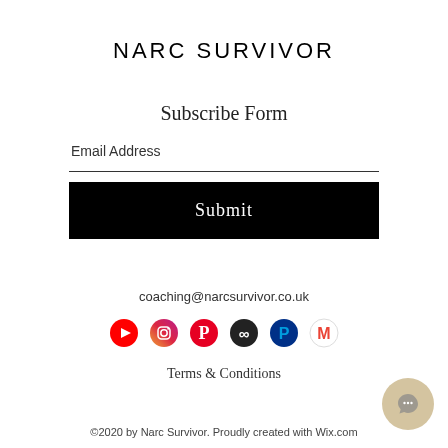NARC SURVIVOR
Subscribe Form
Email Address
Submit
coaching@narcsurvivor.co.uk
[Figure (infographic): Row of social media icons: YouTube, Instagram, Pinterest, Fiverr/custom, PayPal, Gmail]
Terms & Conditions
©2020 by Narc Survivor. Proudly created with Wix.com